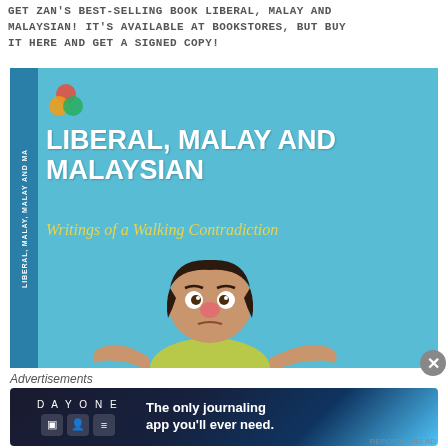GET ZAN'S BEST-SELLING BOOK LIBERAL, MALAY AND MALAYSIAN! IT'S AVAILABLE AT BOOKSTORES, BUT BUY IT HERE AND GET A SIGNED COPY!
[Figure (illustration): Book cover for 'Liberal, Malay and Malaysian: Writings of a Walking Contradiction'. Light blue background with large white bold title, yellow italic subtitle, cartoon illustration of a confused-looking person with black hair shrugging, small colorful circles logo at top left, dark blue spine with repeated title text.]
Advertisements
[Figure (screenshot): Day One journaling app advertisement banner. Dark navy/blue gradient background with 'DAY ONE' text and three app icons on the left, and 'The only journaling app you'll ever need.' text on the right.]